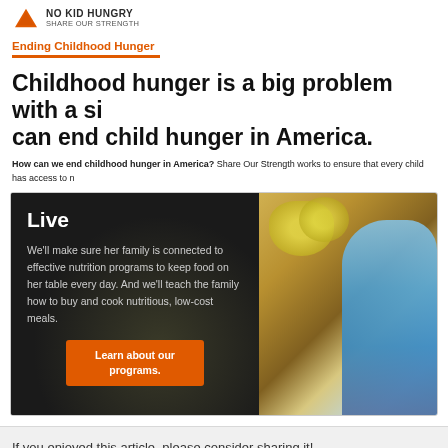No Kid Hungry / Share Our Strength
Ending Childhood Hunger
Childhood hunger is a big problem with a simple solution. We can end child hunger in America.
How can we end childhood hunger in America? Share Our Strength works to ensure that every child has access to nu...
[Figure (photo): Photo of a young girl in a blue sweater reaching toward produce in a store, overlaid on a dark background panel with text about nutrition programs and an orange CTA button.]
Live
We'll make sure her family is connected to effective nutrition programs to keep food on her table every day. And we'll teach the family how to buy and cook nutritious, low-cost meals.
Learn about our programs.
If you enjoyed this article, please consider sharing it!
Tagged with: attention • economics/business • health • hearts -- matters of the h...